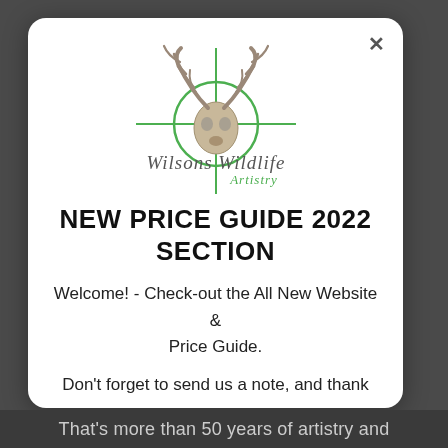[Figure (logo): Wilsons Wildlife Artistry logo: deer skull with antlers over a green crosshair/scope reticle, with stylized text 'Wilsons Wildlife' and 'Artistry' in green below]
NEW PRICE GUIDE 2022 SECTION
Welcome! - Check-out the All New Website & Price Guide.
Don't forget to send us a note, and thank you for visiting.
That's more than 50 years of artistry and